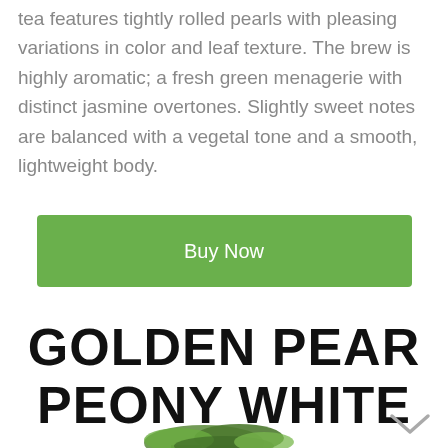tea features tightly rolled pearls with pleasing variations in color and leaf texture. The brew is highly aromatic; a fresh green menagerie with distinct jasmine overtones. Slightly sweet notes are balanced with a vegetal tone and a smooth, lightweight body.
Buy Now
GOLDEN PEAR PEONY WHITE TEA
[Figure (photo): Partial view of green tea leaves/product at bottom of page]